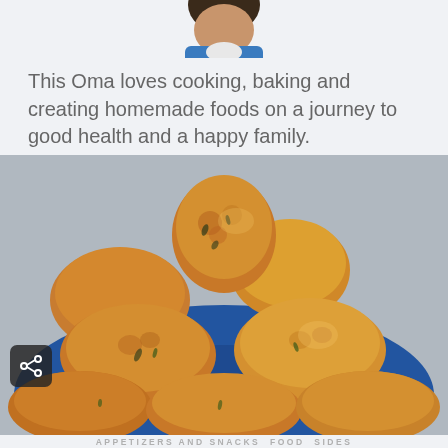[Figure (photo): Partial view of a person's profile photo (avatar), cropped at the top]
This Oma loves cooking, baking and creating homemade foods on a journey to good health and a happy family.
[Figure (photo): A stack of golden-brown baked zucchini/cheese fritters piled on a blue plate, close-up food photography]
APPETIZERS AND SNACKS  FOOD  SIDES